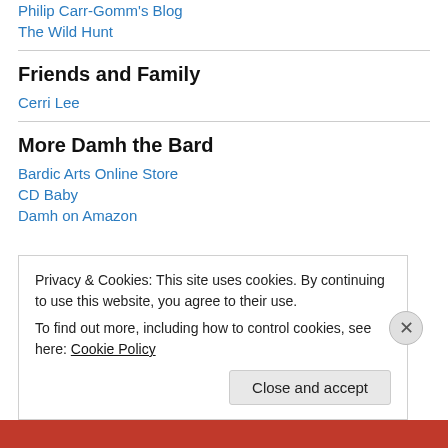Philip Carr-Gomm's Blog
The Wild Hunt
Friends and Family
Cerri Lee
More Damh the Bard
Bardic Arts Online Store
CD Baby
Damh on Amazon
Privacy & Cookies: This site uses cookies. By continuing to use this website, you agree to their use. To find out more, including how to control cookies, see here: Cookie Policy
Close and accept